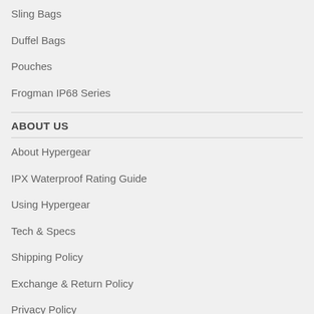Sling Bags
Duffel Bags
Pouches
Frogman IP68 Series
ABOUT US
About Hypergear
IPX Waterproof Rating Guide
Using Hypergear
Tech & Specs
Shipping Policy
Exchange & Return Policy
Privacy Policy
Warranty Registration